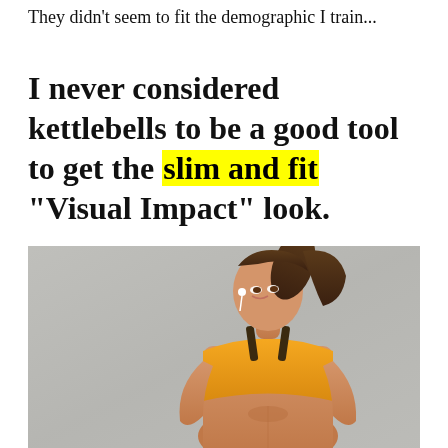They didn't seem to fit the demographic I train...
I never considered kettlebells to be a good tool to get the slim and fit “Visual Impact” look.
[Figure (photo): A fit young woman with a ponytail wearing a yellow sports bra and workout gear, standing confidently with hands on hips against a concrete wall background, with white earbuds in her ear.]